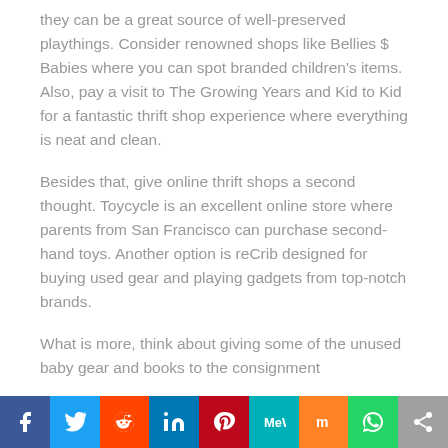they can be a great source of well-preserved playthings. Consider renowned shops like Bellies $ Babies where you can spot branded children's items. Also, pay a visit to The Growing Years and Kid to Kid for a fantastic thrift shop experience where everything is neat and clean.
Besides that, give online thrift shops a second thought. Toycycle is an excellent online store where parents from San Francisco can purchase second-hand toys. Another option is reCrib designed for buying used gear and playing gadgets from top-notch brands.
What is more, think about giving some of the unused baby gear and books to the consignment